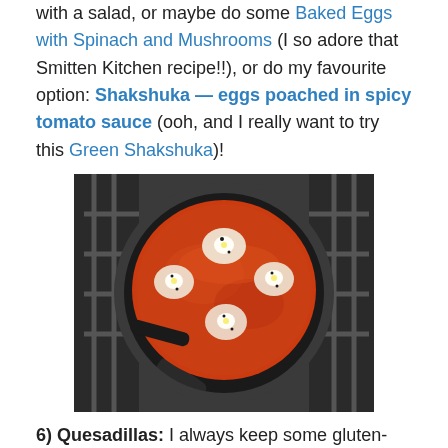with a salad, or maybe do some Baked Eggs with Spinach and Mushrooms (I so adore that Smitten Kitchen recipe!!), or do my favourite option: Shakshuka — eggs poached in spicy tomato sauce (ooh, and I really want to try this Green Shakshuka)!
[Figure (photo): A cast iron skillet on a gas stove containing Shakshuka — eggs poached in spicy tomato sauce. The dish shows a rich red tomato sauce with several white egg whites and yolks visible on top, seasoned with black pepper.]
6) Quesadillas: I always keep some gluten-free tortillas in the fridge for emergencies. And stuffing leftovers + cheese